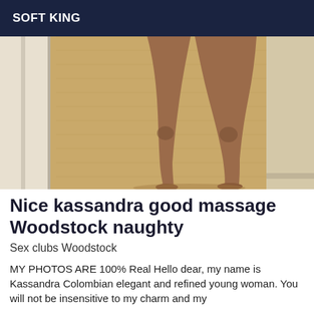SOFT KING
[Figure (photo): Cropped photo showing a person's bare legs standing on a light wood herringbone floor, with a white door frame on the left side and a beige wall in the background.]
Nice kassandra good massage Woodstock naughty
Sex clubs Woodstock
MY PHOTOS ARE 100% Real Hello dear, my name is Kassandra Colombian elegant and refined young woman. You will not be insensitive to my charm and my